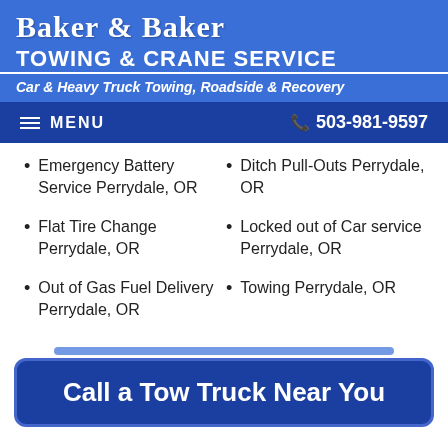Baker & Baker Towing & Crane Service
Car & Heavy Truck Towing, Roadside & Recovery
MENU | 503-981-9597
Emergency Battery Service Perrydale, OR
Ditch Pull-Outs Perrydale, OR
Flat Tire Change Perrydale, OR
Locked out of Car service Perrydale, OR
Out of Gas Fuel Delivery Perrydale, OR
Towing Perrydale, OR
Call a Tow Truck Near You